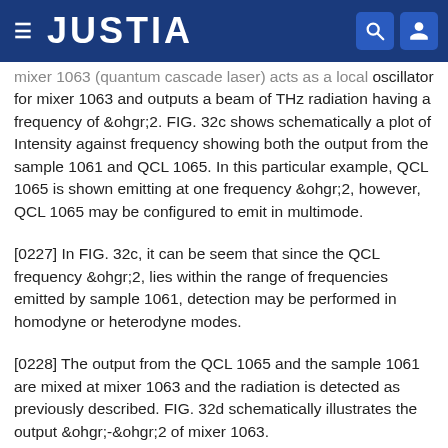JUSTIA
mixer 1063 (quantum cascade laser) acts as a local oscillator for mixer 1063 and outputs a beam of THz radiation having a frequency of ω2. FIG. 32c shows schematically a plot of Intensity against frequency showing both the output from the sample 1061 and QCL 1065. In this particular example, QCL 1065 is shown emitting at one frequency ω2, however, QCL 1065 may be configured to emit in multimode.
[0227] In FIG. 32c, it can be seem that since the QCL frequency ω2, lies within the range of frequencies emitted by sample 1061, detection may be performed in homodyne or heterodyne modes.
[0228] The output from the QCL 1065 and the sample 1061 are mixed at mixer 1063 and the radiation is detected as previously described. FIG. 32d schematically illustrates the output ω-ω2 of mixer 1063.